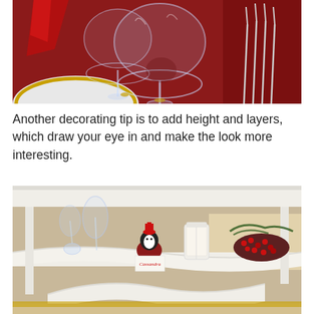[Figure (photo): Close-up photo of crystal wine glasses and silverware (forks) on a red-covered holiday table setting with white plates and gold-rimmed chargers.]
Another decorating tip is to add height and layers, which draw your eye in and make the look more interesting.
[Figure (photo): Photo of a holiday table setting viewed through a white tiered tray or stand, showing a penguin figurine, place cards, a white lantern, red berry decorations, and glassware in the background.]